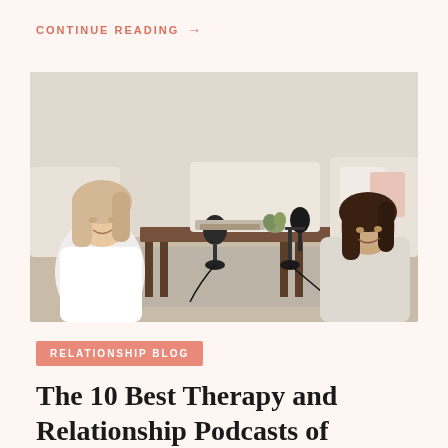CONTINUE READING →
[Figure (photo): Two women sitting on the floor across from each other at a wooden coffee table with podcast microphones on it, in a bright living room setting. Both women are smiling and appear to be recording a podcast.]
RELATIONSHIP BLOG
The 10 Best Therapy and Relationship Podcasts of